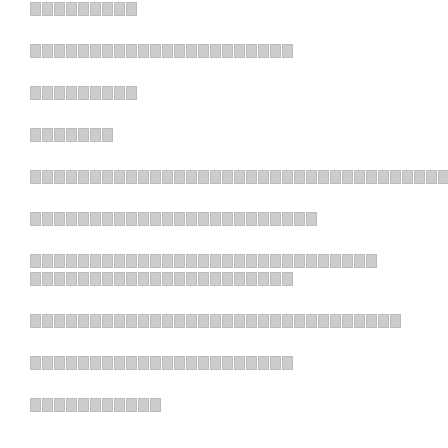[redacted]
[redacted]
[redacted]
[redacted]
[redacted]
[redacted]
[redacted]
[redacted]
[redacted]
[redacted]
[redacted]